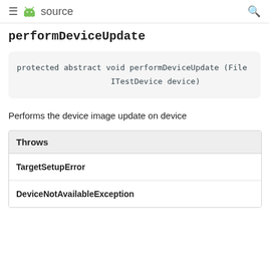≡ source 🔍
performDeviceUpdate
protected abstract void performDeviceUpdate (File
                    ITestDevice device)
Performs the device image update on device
| Throws |
| --- |
| TargetSetupError |
| DeviceNotAvailableException |